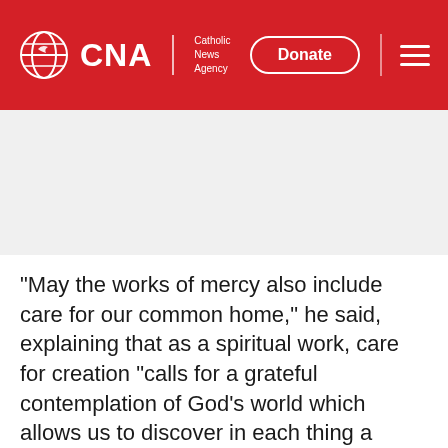CNA Catholic News Agency | Donate
[Figure (other): Grey advertisement/image placeholder area]
"May the works of mercy also include care for our common home," he said, explaining that as a spiritual work, care for creation "calls for a grateful contemplation of God's world which allows us to discover in each thing a teaching which God wishes to hand on to us."
In a conference held earlier this month to mark the third anniversary of the publication of